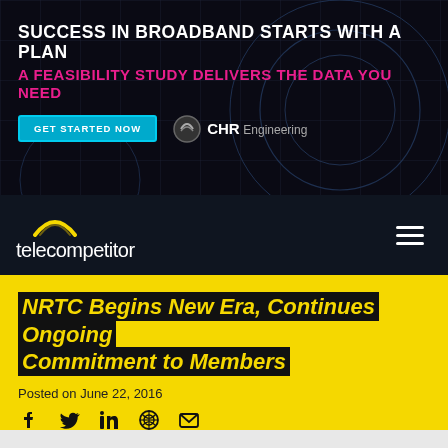[Figure (infographic): Dark navy advertisement banner for CHR Engineering broadband feasibility study. Text reads 'SUCCESS IN BROADBAND STARTS WITH A PLAN' in white bold uppercase, 'A FEASIBILITY STUDY DELIVERS THE DATA YOU NEED' in pink/magenta bold uppercase, with a teal 'GET STARTED NOW' button and CHR Engineering logo.]
telecompetitor
NRTC Begins New Era, Continues Ongoing Commitment to Members
Posted on June 22, 2016
[Figure (infographic): Social sharing icons: Facebook, Twitter, LinkedIn, Pinterest, Email]
NRTC  Rural